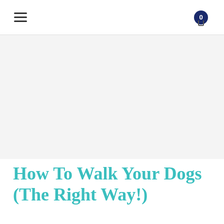≡  0
[Figure (photo): Large white/light gray image placeholder area for a dog walking article hero image]
How To Walk Your Dogs (The Right Way!)